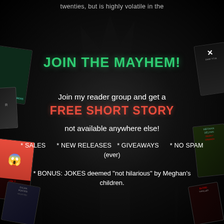twenties, but is highly volatile in the
JOIN THE MAYHEM!
Join my reader group and get a
FREE SHORT STORY
not available anywhere else!
* SALES    * NEW RELEASES  * GIVEAWAYS    * NO SPAM
(ever)
* BONUS: JOKES deemed "not hilarious" by Meghan's children.
[Figure (illustration): Dark horror book covers arranged around the edges of the image with a dark misty forest/tree background]